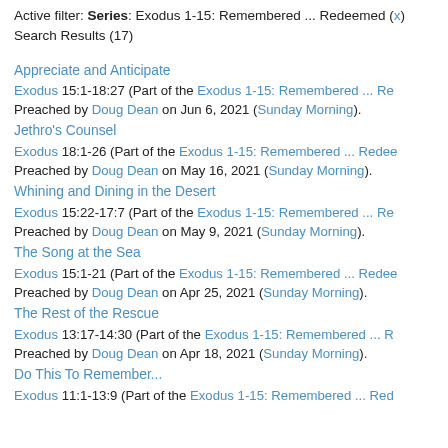Active filter: Series: Exodus 1-15: Remembered ... Redeemed (x)
Search Results (17)
Appreciate and Anticipate
Exodus 15:1-18:27 (Part of the Exodus 1-15: Remembered ... Re
Preached by Doug Dean on Jun 6, 2021 (Sunday Morning).
Jethro's Counsel
Exodus 18:1-26 (Part of the Exodus 1-15: Remembered ... Redeemed
Preached by Doug Dean on May 16, 2021 (Sunday Morning).
Whining and Dining in the Desert
Exodus 15:22-17:7 (Part of the Exodus 1-15: Remembered ... Re
Preached by Doug Dean on May 9, 2021 (Sunday Morning).
The Song at the Sea
Exodus 15:1-21 (Part of the Exodus 1-15: Remembered ... Redeemed
Preached by Doug Dean on Apr 25, 2021 (Sunday Morning).
The Rest of the Rescue
Exodus 13:17-14:30 (Part of the Exodus 1-15: Remembered ... R
Preached by Doug Dean on Apr 18, 2021 (Sunday Morning).
Do This To Remember...
Exodus 11:1-13:9 (Part of the Exodus 1-15: Remembered ... Red